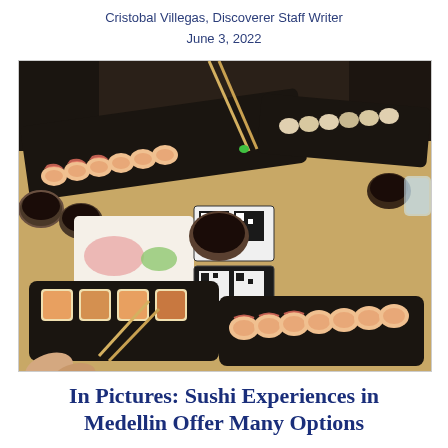Cristobal Villegas, Discoverer Staff Writer
June 3, 2022
[Figure (photo): Overhead view of a sushi restaurant table with multiple black slate boards holding various sushi rolls topped with shredded crab, dipping sauces, wasabi, ginger, QR code menu cards, and chopsticks in use.]
In Pictures: Sushi Experiences in Medellin Offer Many Options